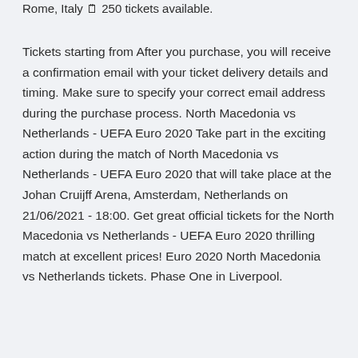Rome, Italy 🗒 250 tickets available.
Tickets starting from After you purchase, you will receive a confirmation email with your ticket delivery details and timing. Make sure to specify your correct email address during the purchase process. North Macedonia vs Netherlands - UEFA Euro 2020 Take part in the exciting action during the match of North Macedonia vs Netherlands - UEFA Euro 2020 that will take place at the Johan Cruijff Arena, Amsterdam, Netherlands on 21/06/2021 - 18:00. Get great official tickets for the North Macedonia vs Netherlands - UEFA Euro 2020 thrilling match at excellent prices! Euro 2020 North Macedonia vs Netherlands tickets. Phase One in Liverpool.